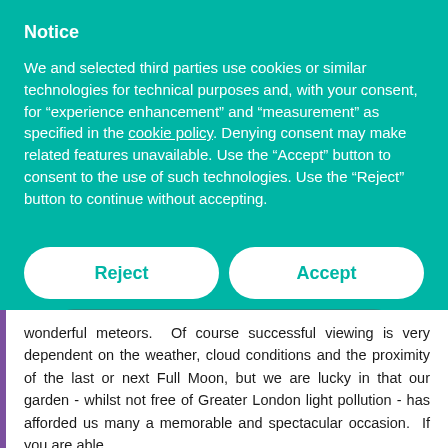Notice
We and selected third parties use cookies or similar technologies for technical purposes and, with your consent, for “experience enhancement” and “measurement” as specified in the cookie policy. Denying consent may make related features unavailable. Use the “Accept” button to consent to the use of such technologies. Use the “Reject” button to continue without accepting.
Reject
Accept
Learn more
wonderful meteors.  Of course successful viewing is very dependent on the weather, cloud conditions and the proximity of the last or next Full Moon, but we are lucky in that our garden - whilst not free of Greater London light pollution - has afforded us many a memorable and spectacular occasion.  If you are able